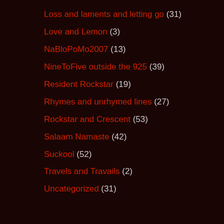Loss and laments and letting go (31)
Love and Lemon (3)
NaBloPoMo2007 (13)
NineToFive outside the 925 (39)
Resident Rockstar (19)
Rhymes and unrhymed lines (27)
Rockstar and Crescent (53)
Salaam Namaste (42)
Suckool (52)
Travels and Travails (2)
Uncategorized (31)